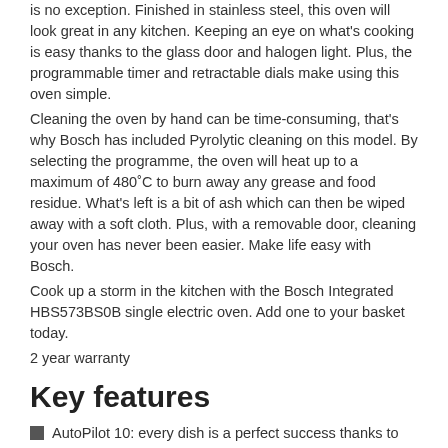is no exception. Finished in stainless steel, this oven will look great in any kitchen. Keeping an eye on what's cooking is easy thanks to the glass door and halogen light. Plus, the programmable timer and retractable dials make using this oven simple.
Cleaning the oven by hand can be time-consuming, that's why Bosch has included Pyrolytic cleaning on this model. By selecting the programme, the oven will heat up to a maximum of 480°C to burn away any grease and food residue. What's left is a bit of ash which can then be wiped away with a soft cloth. Plus, with a removable door, cleaning your oven has never been easier. Make life easy with Bosch.
Cook up a storm in the kitchen with the Bosch Integrated HBS573BS0B single electric oven. Add one to your basket today.
2 year warranty
Key features
AutoPilot 10: every dish is a perfect success thanks to 10 pre-set automatic programmes.
Pyrolytic self-cleaning: effortless cleaning thanks to pyrolytic cleaning programmes
Pop-out controls: for an easy to clean front.
Red LED display control: easy-to-use thanks to clear time display.
Slim Universal Pans: 2 universal pans, slim size; optimised for smaller dishes
The item will need the following